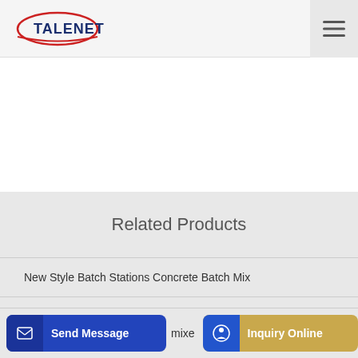TALENET
Related Products
New Style Batch Stations Concrete Batch Mix
Global Truck-mounted Concrete Pumps Market Report 2019
Send Message | mixe | Inquiry Online